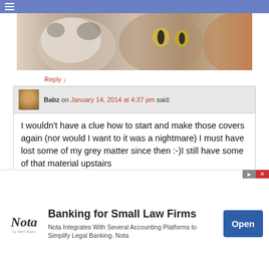≡
[Figure (photo): Close-up photo of cats, showing fluffy and spotted cats side by side]
Reply ↓
Babz on January 14, 2014 at 4:37 pm said:
I wouldn't have a clue how to start and make those covers again (nor would I want to it was a nightmare) I must have lost some of my grey matter since then :-)I still have some of that material upstairs
Reply ↓
[Figure (infographic): Advertisement for Nota - Banking for Small Law Firms. Nota Integrates With Several Accounting Platforms to Simplify Legal Banking. Nota. Open button.]